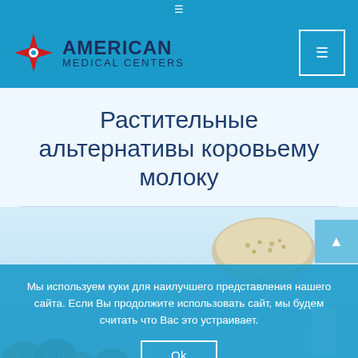☰
[Figure (logo): American Medical Centers logo with red compass star icon and dark blue text]
Растительные альтернативы коровьему молоку
[Figure (photo): Photo of nuts, grains, and dairy alternatives with a blue-tinted cookie consent overlay. Text: Мы используем куки для наилучшего представления нашего сайта. Если Вы продолжите использовать сайт, мы будем считать что Вас это устраивает. Ok button.]